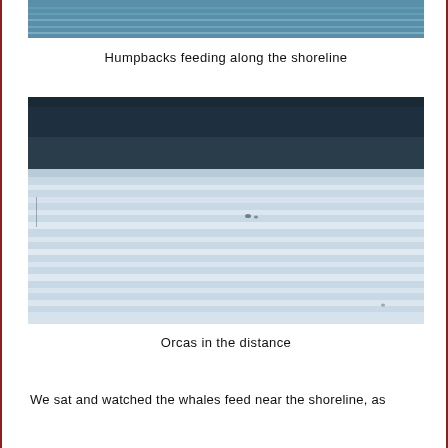[Figure (photo): Partial view of ocean water surface, humpbacks feeding along the shoreline — top portion of photo cropped]
Humpbacks feeding along the shoreline
[Figure (photo): Wide shot of calm water with horizontal ripple lines and a dark forested hillside in the background; tiny distant orcas visible on the water surface]
Orcas in the distance
We sat and watched the whales feed near the shoreline, as